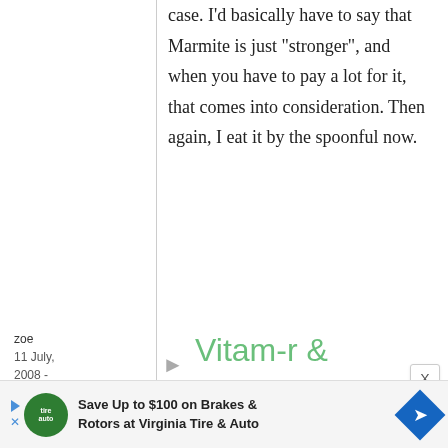case. I'd basically have to say that Marmite is just "stronger", and when you have to pay a lot for it, that comes into consideration. Then again, I eat it by the spoonful now.
zoe
11 July, 2008 - 22:58
Vitam-r & *Mellow*
Save Up to $100 on Brakes & Rotors at Virginia Tire & Auto